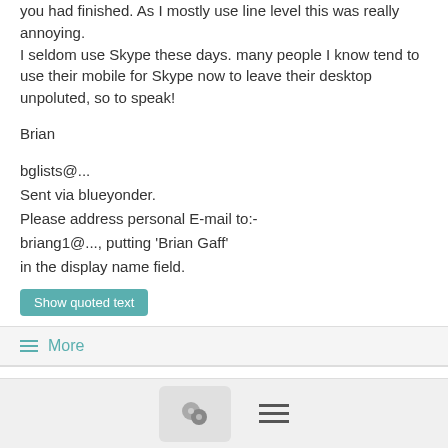you had finished. As I mostly use line level this was really annoying.
I seldom use Skype these days. many people I know tend to use their mobile for Skype now to leave their desktop unpoluted, so to speak!
Brian
bglists@...
Sent via blueyonder.
Please address personal E-mail to:-
briang1@..., putting 'Brian Gaff'
in the display name field.
Show quoted text
≡ More
Re: PDF t9 Word keeping footnotes
7/12/18